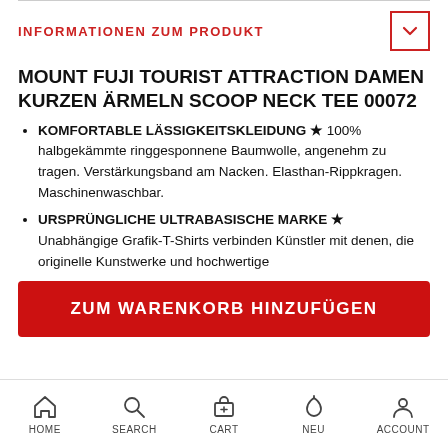INFORMATIONEN ZUM PRODUKT
MOUNT FUJI TOURIST ATTRACTION DAMEN KURZEN ÄRMELN SCOOP NECK TEE 00072
KOMFORTABLE LÄSSIGKEITSKLEIDUNG ★ 100% halbgekämmte ringgesponnene Baumwolle, angenehm zu tragen. Verstärkungsband am Nacken. Elasthan-Rippkragen. Maschinenwaschbar.
URSPRÜNGLICHE ULTRABASISCHE MARKE ★ Unabhängige Grafik-T-Shirts verbinden Künstler mit denen, die originelle Kunstwerke und hochwertige
ZUM WARENKORB HINZUFÜGEN
HOME  SEARCH  CART  NEU  ACCOUNT